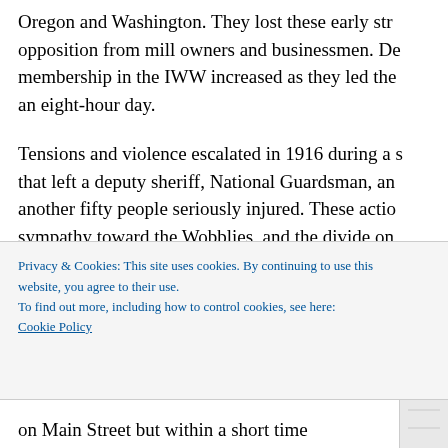Oregon and Washington. They lost these early str opposition from mill owners and businessmen. De membership in the IWW increased as they led the an eight-hour day.
Tensions and violence escalated in 1916 during a s that left a deputy sheriff, National Guardsman, an another fifty people seriously injured. These actio sympathy toward the Wobblies, and the divide on subsequent trial of IWW men ended in acquittal.
As the actions in Everett were playing out, IWW organizers fanned out from
Privacy & Cookies: This site uses cookies. By continuing to use this website, you agree to their use.
To find out more, including how to control cookies, see here:
Cookie Policy
on Main Street but within a short time